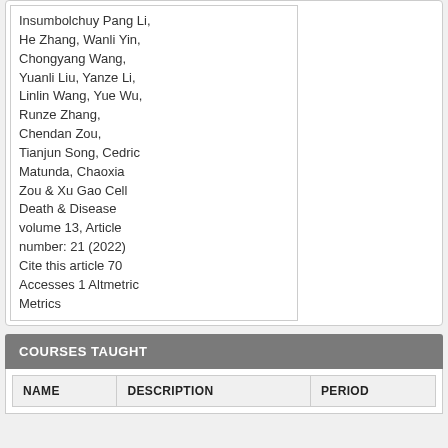Insumbolchuy Pang Li, He Zhang, Wanli Yin, Chongyang Wang, Yuanli Liu, Yanze Li, Linlin Wang, Yue Wu, Runze Zhang, Chendan Zou, Tianjun Song, Cedric Matunda, Chaoxia Zou & Xu Gao Cell Death & Disease volume 13, Article number: 21 (2022) Cite this article 70 Accesses 1 Altmetric Metrics
COURSES TAUGHT
| NAME | DESCRIPTION | PERIOD |
| --- | --- | --- |